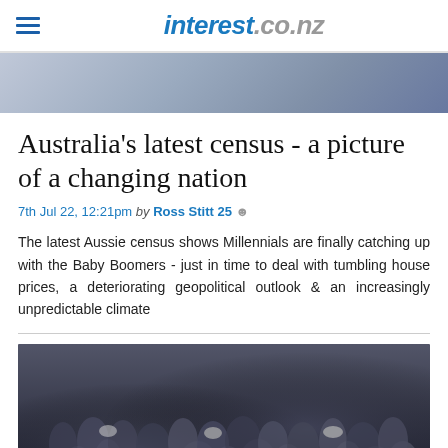interest.co.nz
[Figure (photo): Partial photo of people at the top of the page, cropped]
Australia's latest census - a picture of a changing nation
7th Jul 22, 12:21pm by Ross Stitt 25
The latest Aussie census shows Millennials are finally catching up with the Baby Boomers - just in time to deal with tumbling house prices, a deteriorating geopolitical outlook & an increasingly unpredictable climate
[Figure (photo): Crowd of people wearing face masks, dark-toned photograph]